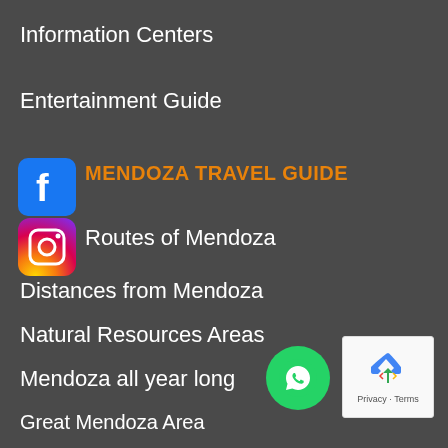Information Centers
Entertainment Guide
MENDOZA TRAVEL GUIDE
Routes of Mendoza
Distances from Mendoza
Natural Resources Areas
Mendoza all year long
Great Mendoza Area
Central Area
North Area
[Figure (logo): Facebook icon - blue rounded square with white f]
[Figure (logo): Instagram icon - gradient purple/orange rounded square with camera outline]
[Figure (logo): WhatsApp green circle button with phone/chat icon]
[Figure (logo): reCAPTCHA badge with Privacy and Terms text]